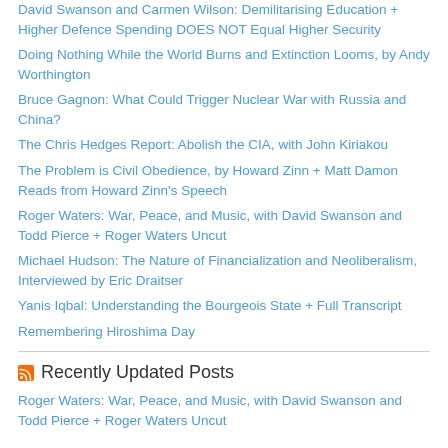David Swanson and Carmen Wilson: Demilitarising Education + Higher Defence Spending DOES NOT Equal Higher Security
Doing Nothing While the World Burns and Extinction Looms, by Andy Worthington
Bruce Gagnon: What Could Trigger Nuclear War with Russia and China?
The Chris Hedges Report: Abolish the CIA, with John Kiriakou
The Problem is Civil Obedience, by Howard Zinn + Matt Damon Reads from Howard Zinn's Speech
Roger Waters: War, Peace, and Music, with David Swanson and Todd Pierce + Roger Waters Uncut
Michael Hudson: The Nature of Financialization and Neoliberalism, Interviewed by Eric Draitser
Yanis Iqbal: Understanding the Bourgeois State + Full Transcript
Remembering Hiroshima Day
Recently Updated Posts
Roger Waters: War, Peace, and Music, with David Swanson and Todd Pierce + Roger Waters Uncut